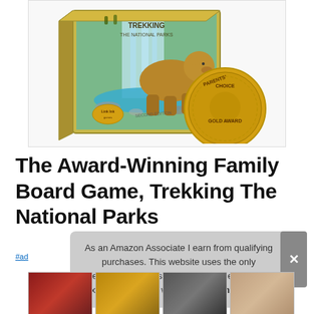[Figure (photo): Product image of 'Trekking The National Parks' board game box showing a bear catching a salmon near a waterfall, with a Parents' Choice Gold Award medal medallion overlaid in the bottom right corner.]
The Award-Winning Family Board Game, Trekking The National Parks
#ad
As an Amazon Associate I earn from qualifying purchases. This website uses the only necessary cookies to ensure you get the best experience on our website. More information
[Figure (photo): Row of four small thumbnail images at the bottom of the page showing various board game related photos.]